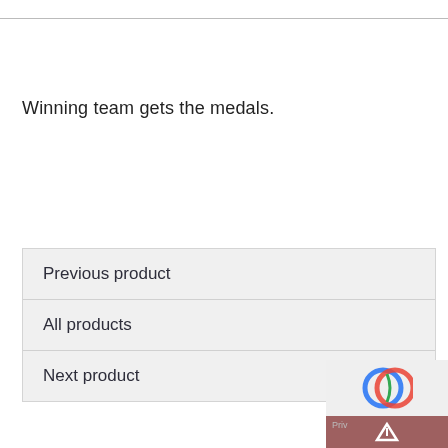Winning team gets the medals.
Previous product
All products
Next product